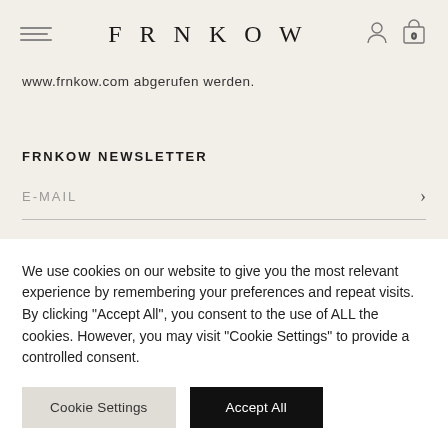FRNKOW
www.frnkow.com abgerufen werden.
FRNKOW NEWSLETTER
E-MAIL
We use cookies on our website to give you the most relevant experience by remembering your preferences and repeat visits. By clicking "Accept All", you consent to the use of ALL the cookies. However, you may visit "Cookie Settings" to provide a controlled consent.